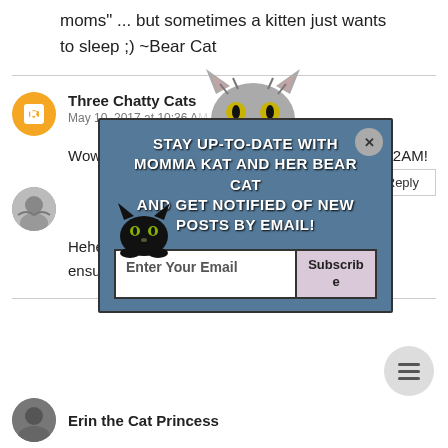moms ... but sometimes a kitten just wants to sleep ;) ~Bear Cat
Three Chatty Cats
May 10, 2017 at 10:36 AM
Wow, ... n at 2AM!
[Figure (infographic): Popup overlay with cat illustration at top, dark blue background, text: STAY UP-TO-DATE WITH MOMMA KAT AND HER BEAR CAT AND GET NOTIFIED OF NEW POSTS BY EMAIL! With an email input field and Subscribe button. Small black cat illustration at bottom left. X close button.]
Hehehehehe. Talking is the best w... ensure they stay awake ;) ~Bear Cat
Erin the Cat Princess